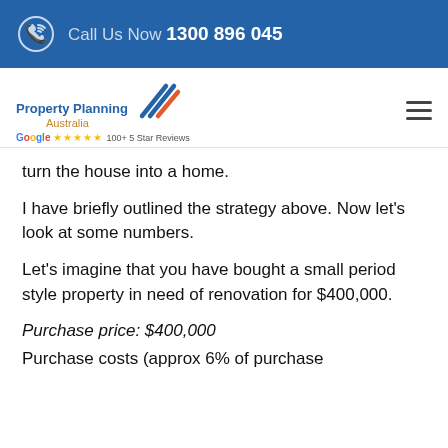Call Us Now 1300 896 045
[Figure (logo): Property Planning Australia logo with blue diagonal lines graphic, Google 5 star reviews badge]
turn the house into a home.
I have briefly outlined the strategy above. Now let’s look at some numbers.
Let’s imagine that you have bought a small period style property in need of renovation for $400,000.
Purchase price: $400,000
Purchase costs (approx 6% of purchase price): $25,000